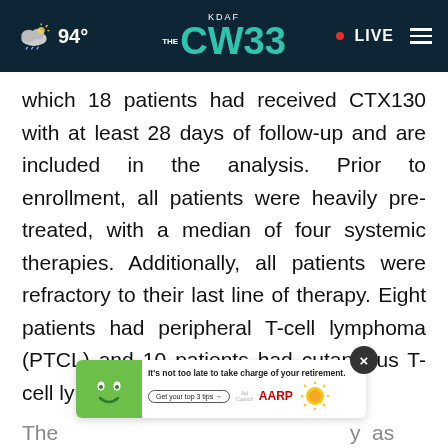KDAF CW 33 | 94° | LIVE
which 18 patients had received CTX130 with at least 28 days of follow-up and are included in the analysis. Prior to enrollment, all patients were heavily pre-treated, with a median of four systemic therapies. Additionally, all patients were refractory to their last line of therapy. Eight patients had peripheral T-cell lymphoma (PTCL) and 10 patients had cutaneous T-cell lymphoma (CTCL).
The ... y as
[Figure (screenshot): Advertisement banner: AARP retirement tips ad with green cartoon face, 'It's not too late to take charge of your retirement. Get your top 3 tips' button, Ad Council and AARP logos, sun graphic. Close button (×) in top right.]